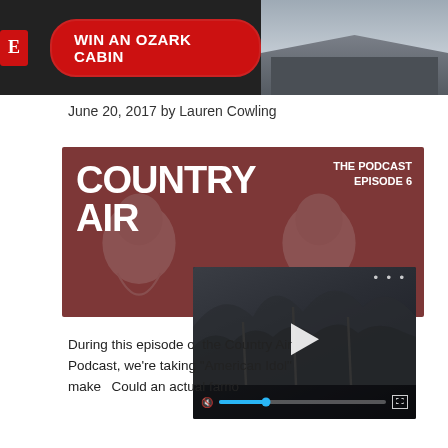[Figure (screenshot): Banner advertisement with red logo and 'WIN AN OZARK CABIN' button on dark background, with cabin building photo on right]
June 20, 2017 by Lauren Cowling
[Figure (illustration): Country Air podcast Episode 6 promotional image with large white bold text 'COUNTRY AIR', episode label top right, watermarked Dolly Parton face silhouettes, dark rose background. Subtitle: REALITY SINGING COMPETITIONS, FAMOUS PEOPLE ON 'THE BACHELOR,']
[Figure (screenshot): Video player overlay showing aerial winter forest scene with play button, mute icon, progress bar with blue dot, and fullscreen icon]
During this episode of the Country Air Podcast, we're taking a look at how "American Idol" makes its picks. Could an actual famo...